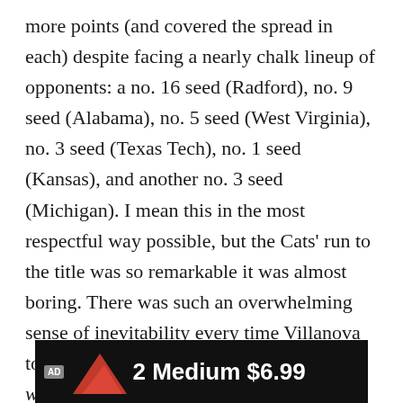more points (and covered the spread in each) despite facing a nearly chalk lineup of opponents: a no. 16 seed (Radford), no. 9 seed (Alabama), no. 5 seed (West Virginia), no. 3 seed (Texas Tech), no. 1 seed (Kansas), and another no. 3 seed (Michigan). I mean this in the most respectful way possible, but the Cats' run to the title was so remarkable it was almost boring. There was such an overwhelming sense of inevitability every time Villanova took the court that I got some serious Are we sure UConn is good for women's basketball? vibes.
[Figure (other): Advertisement banner showing 'AD' label, red mountain graphic, text '2 Medium $6.99' on dark background]